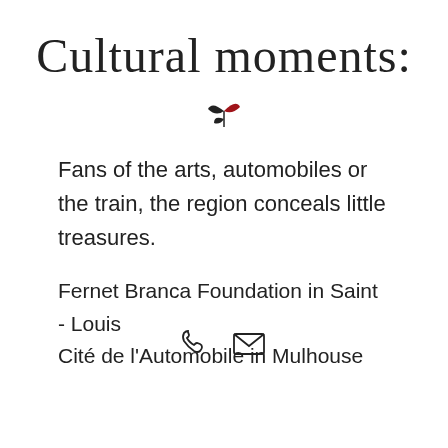Cultural moments:
[Figure (illustration): Small decorative leaf/plant icon in dark and red colors]
Fans of the arts, automobiles or the train, the region conceals little treasures.
Fernet Branca Foundation in Saint - Louis
Cité de l'Automobile in Mulhouse
Phone and email icons